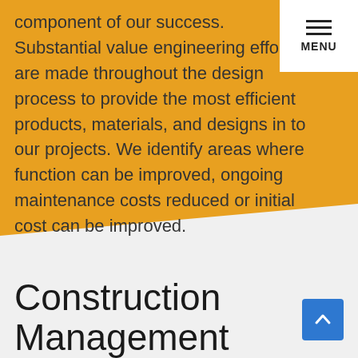component of our success. Substantial value engineering efforts are made throughout the design process to provide the most efficient products, materials, and designs in to our projects. We identify areas where function can be improved, ongoing maintenance costs reduced or initial cost can be improved.
Construction Management